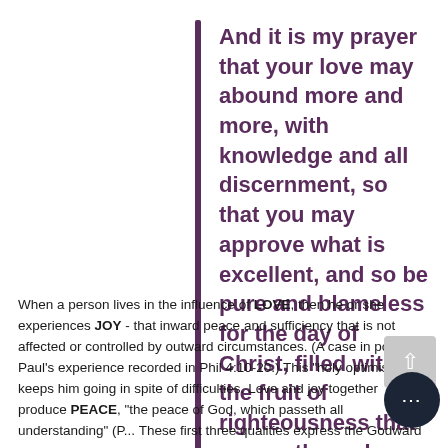And it is my prayer that your love may abound more and more, with knowledge and all discernment, so that you may approve what is excellent, and so be pure and blameless for the day of Christ, filled with the fruit of righteousness that comes through Jesus Christ, to the glory and praise of God.
When a person lives in the influence of LOVE, then he or she experiences JOY - that inward peace and sufficiency that is not affected or controlled by outward circumstances. (A case in point is Paul's experience recorded in Phil 4:10-20.) This "holy optimism" keeps him going in spite of difficulties. Love and joy together produce PEACE, "the peace of God, which passeth all understanding" (Phil). These first three qualities express the Godward or